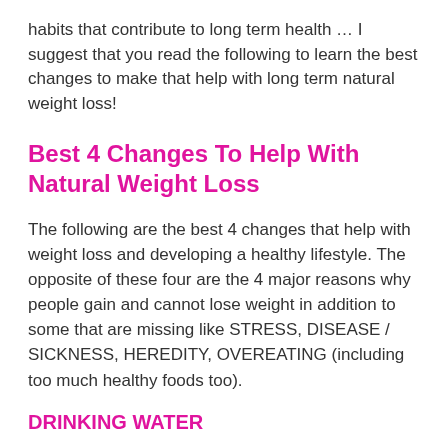habits that contribute to long term health … I suggest that you read the following to learn the best changes to make that help with long term natural weight loss!
Best 4 Changes To Help With Natural Weight Loss
The following are the best 4 changes that help with weight loss and developing a healthy lifestyle. The opposite of these four are the 4 major reasons why people gain and cannot lose weight in addition to some that are missing like STRESS, DISEASE / SICKNESS, HEREDITY, OVEREATING (including too much healthy foods too).
DRINKING WATER